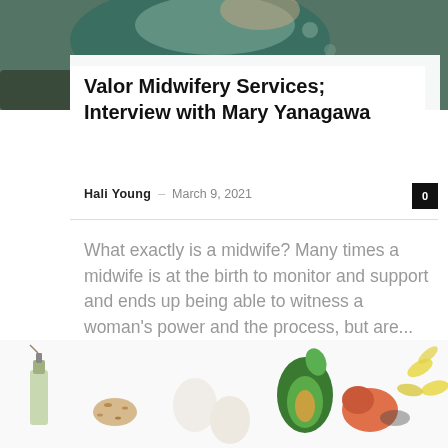[Figure (photo): Top portion of a photograph showing a woman (midwife) with a child outdoors, wearing teal/green clothing]
Valor Midwifery Services; Interview with Mary Yanagawa
Hali Young – March 9, 2021
What exactly is a midwife? Many times a midwife is at the birth to monitor and support and ends up being able to witness a woman's power and the process, but are...
Read more
[Figure (photo): Bottom portion showing various health foods and supplements on a white background: essential oil bottle, flax seeds, eggs, avocado, salmon, chia seeds, fish oil capsules]